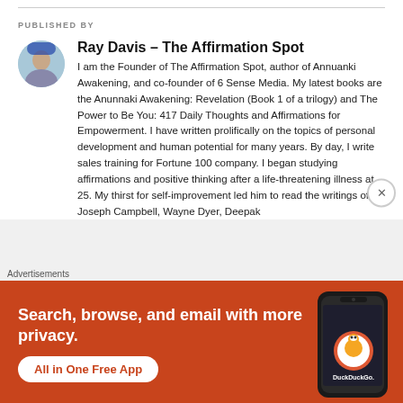PUBLISHED BY
Ray Davis – The Affirmation Spot
I am the Founder of The Affirmation Spot, author of Annuanki Awakening, and co-founder of 6 Sense Media. My latest books are the Anunnaki Awakening: Revelation (Book 1 of a trilogy) and The Power to Be You: 417 Daily Thoughts and Affirmations for Empowerment. I have written prolifically on the topics of personal development and human potential for many years. By day, I write sales training for Fortune 100 company. I began studying affirmations and positive thinking after a life-threatening illness at 25. My thirst for self-improvement led him to read the writings of Joseph Campbell, Wayne Dyer, Deepak
[Figure (other): Advertisement banner for DuckDuckGo app. Orange background with text: Search, browse, and email with more privacy. All in One Free App. Shows a smartphone with DuckDuckGo logo.]